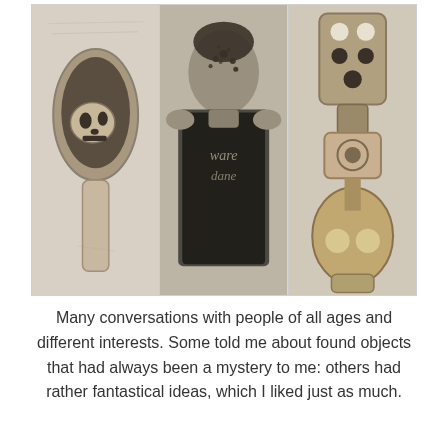[Figure (illustration): Three vertical charcoal drawings side by side in a triptych: left panel shows a skull inside an oval/capsule shape; middle panel shows a figure with an obscured head wearing a graphic t-shirt; right panel shows an abstract guitar-like figure with holes and bone-like structure.]
Many conversations with people of all ages and different interests. Some told me about found objects that had always been a mystery to me: others had rather fantastical ideas, which I liked just as much.